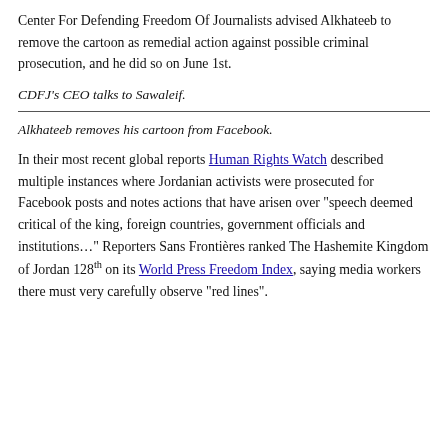Center For Defending Freedom Of Journalists advised Alkhateeb to remove the cartoon as remedial action against possible criminal prosecution, and he did so on June 1st.
CDFJ's CEO talks to Sawaleif.
Alkhateeb removes his cartoon from Facebook.
In their most recent global reports Human Rights Watch described multiple instances where Jordanian activists were prosecuted for Facebook posts and notes actions that have arisen over "speech deemed critical of the king, foreign countries, government officials and institutions..." Reporters Sans Frontières ranked The Hashemite Kingdom of Jordan 128th on its World Press Freedom Index, saying media workers there must very carefully observe "red lines".